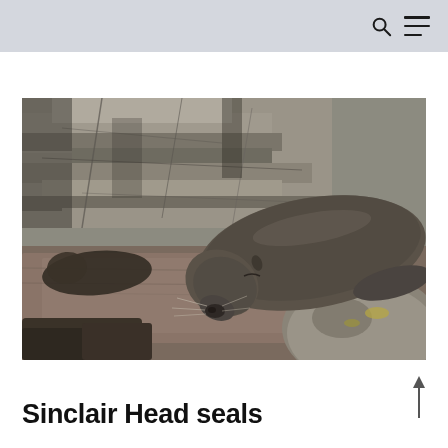[Figure (photo): A fur seal resting on dark rocky terrain, head drooping forward with eyes closed, with layered grey rock cliff face in the background. Another smaller seal visible to the left.]
Sinclair Head seals